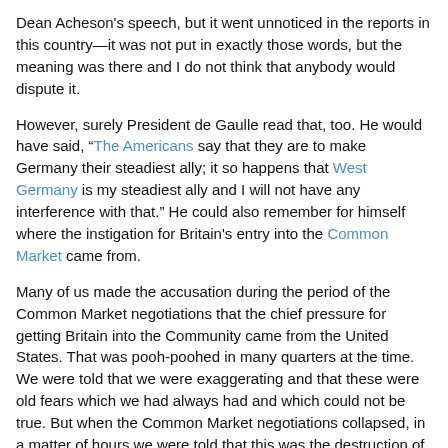Dean Acheson's speech, but it went unnoticed in the reports in this country—it was not put in exactly those words, but the meaning was there and I do not think that anybody would dispute it.
However, surely President de Gaulle read that, too. He would have said, "The Americans say that they are to make Germany their steadiest ally; it so happens that West Germany is my steadiest ally and I will not have any interference with that." He could also remember for himself where the instigation for Britain's entry into the Common Market came from.
Many of us made the accusation during the period of the Common Market negotiations that the chief pressure for getting Britain into the Community came from the United States. That was pooh-poohed in many quarters at the time. We were told that we were exaggerating and that these were old fears which we had always had and which could not be true. But when the Common Market negotiations collapsed, in a matter of hours we were told that this was the destruction of a primary purpose of American policy. The explosion of American wrath within a few hours of the collapse of the Brussels negotiations was in a sense a vindication of the charge which President de Gaulle had made beforehand.
Has anyone tried to discover objectively the reasons why President de Gaulle has reached this conclusion? We have not been provided with answers by the Government. We have been told that President de Gaulle